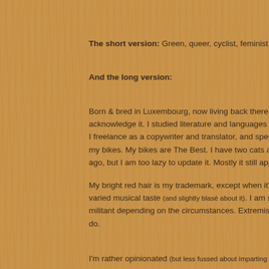The short version: Green, queer, cyclist, feminist, SJW.
And the long version:
Born & bred in Luxembourg, now living back there after 18 years living in acknowledge it. I studied literature and languages at Sussex, Warwick, L I freelance as a copywriter and translator, and spend my free time explor my bikes. My bikes are The Best. I have two cats and they are also The B ago, but I am too lazy to update it. Mostly it still applies.
My bright red hair is my trademark, except when it's pink or green or blon varied musical taste (and slightly blasé about it). I am sure there is no God, a militant depending on the circumstances. Extremist atheists sometimes a do.
I'm rather opinionated (but less fussed about imparting my opinions than I used to think of myself as mildly creative. I draw, sew, write, sometimes design T- can get general arty-crafty phases.
I used to travel a lot, usually 8-10 trips a year. Now that I work from home I'm down to a more reasonable 3-4 a year. Some of them are listed here. a number conveniently spread around the world. I don't have a problem t countries where I don't speak the language cuz that freaks me out b